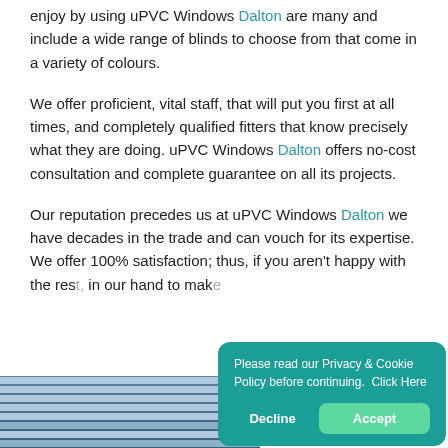enjoy by using uPVC Windows Dalton are many and include a wide range of blinds to choose from that come in a variety of colours.
We offer proficient, vital staff, that will put you first at all times, and completely qualified fitters that know precisely what they are doing. uPVC Windows Dalton offers no-cost consultation and complete guarantee on all its projects.
Our reputation precedes us at uPVC Windows Dalton we have decades in the trade and can vouch for its expertise. We offer 100% satisfaction; thus, if you aren't happy with the res... in our hand to mak...
[Figure (photo): Photo strip showing horizontal window blinds in blue-grey tones]
Please read our Privacy & Cookie Policy before continuing. Click Here